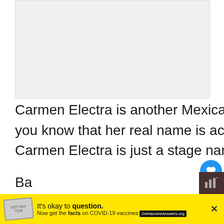[Figure (photo): Light gray image placeholder at top of page]
Carmen Electra is another Mexican celebrity with blonde hair. Did you know that her real name is actually Tara Leigh Patrick, and that Carmen Electra is just a stage name?
Electra is probably most famous fo... electrifying (pub, absolutely intended!) role in
WHAT'S NEXT → Best Hair Removal...
It's okay to question. Now get the facts on COVID-19 vaccines GetVaccineAnswers.org